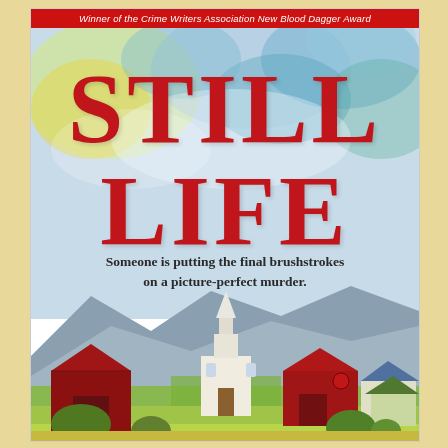Winner of the Crime Writers Association New Blood Dagger Award
STILL LIFE
Someone is putting the final brushstrokes on a picture-perfect murder.
[Figure (illustration): Book cover illustration showing a rural New England village scene with a white church steeple, red barns, rolling hills, mountains in the background, painted in a watercolor style with warm autumn colors. Upper portion has abstract watercolor washes in blue, yellow, and teal.]